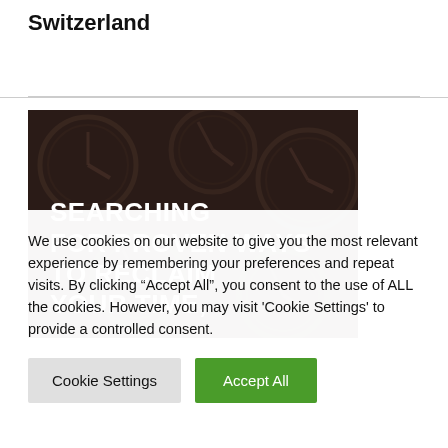Switzerland
[Figure (photo): Dark background image of multiple analog clocks overlapping, with bold white uppercase text overlay reading: SEARCHING FOR PROVEN WAYS TO RECLAIM YOUR TIME,]
We use cookies on our website to give you the most relevant experience by remembering your preferences and repeat visits. By clicking “Accept All”, you consent to the use of ALL the cookies. However, you may visit 'Cookie Settings' to provide a controlled consent.
Cookie Settings | Accept All